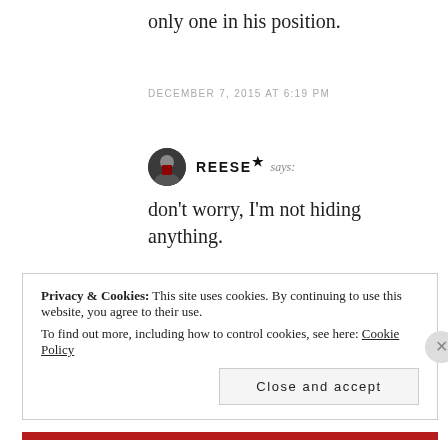only one in his position.
DECEMBER 7, 2015 AT 6:19 PM
REESE★ says:
don't worry, I'm not hiding anything.
DECEMBER 7, 2015 AT 7:01 PM
Privacy & Cookies: This site uses cookies. By continuing to use this website, you agree to their use.
To find out more, including how to control cookies, see here: Cookie Policy
Close and accept